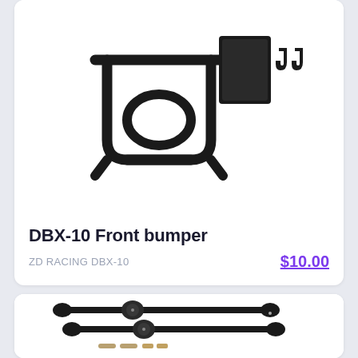[Figure (photo): RC car front bumper parts laid out on white background - black plastic bumper frame, rectangular plate, and two small hook/clip pieces]
DBX-10 Front bumper
ZD RACING DBX-10
$10.00
[Figure (photo): RC car drive shafts/CVD axles - two black metal universal joint drive shafts and small hardware pieces (pins, clips) on white background]